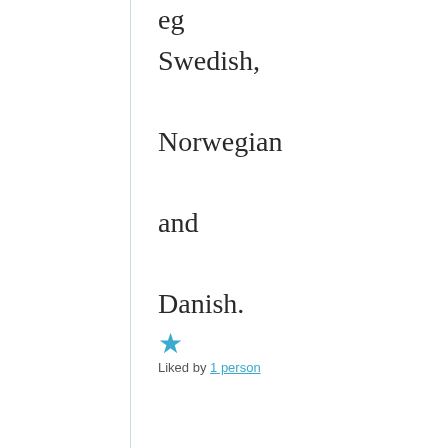eg Swedish, Norwegian and Danish.
★ Liked by 1 person
[Figure (photo): Circular avatar photo of a person, sepia/vintage style portrait]
haooyando
July 10, 202